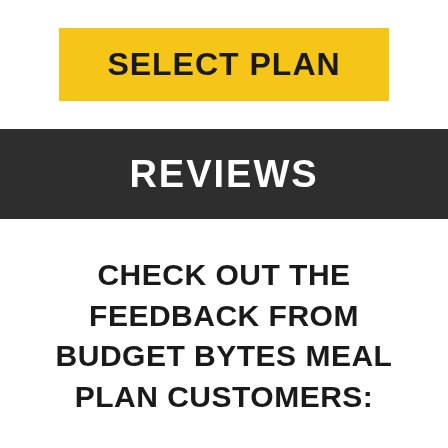SELECT PLAN
REVIEWS
CHECK OUT THE FEEDBACK FROM BUDGET BYTES MEAL PLAN CUSTOMERS: